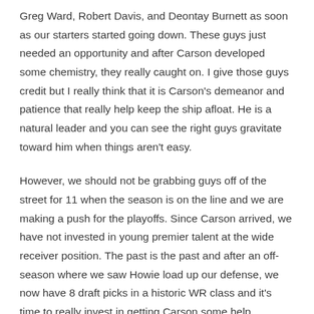Greg Ward, Robert Davis, and Deontay Burnett as soon as our starters started going down. These guys just needed an opportunity and after Carson developed some chemistry, they really caught on. I give those guys credit but I really think that it is Carson's demeanor and patience that really help keep the ship afloat. He is a natural leader and you can see the right guys gravitate toward him when things aren't easy.
However, we should not be grabbing guys off of the street for 11 when the season is on the line and we are making a push for the playoffs. Since Carson arrived, we have not invested in young premier talent at the wide receiver position. The past is the past and after an off-season where we saw Howie load up our defense, we now have 8 draft picks in a historic WR class and it's time to really invest in getting Carson some help.
After spending months watching film and talking to fans, scouts,